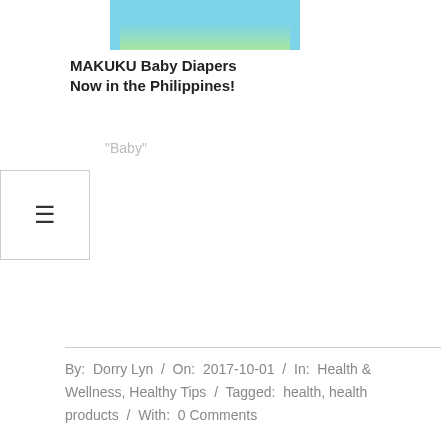[Figure (photo): MAKUKU Baby Diapers promotional banner with two children on a light blue background, with pink header bar and website URL overlay]
MAKUKU Baby Diapers Now in the Philippines!
"Baby"
≡
By: Dorry Lyn / On: 2017-10-01 / In: Health & Wellness, Healthy Tips / Tagged: health, health products / With: 0 Comments